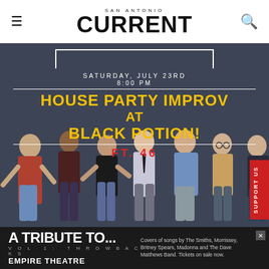SAN ANTONIO CURRENT
[Figure (photo): Event poster for House Party Improv at Black Potion, Saturday July 23rd 8:00 PM, featuring group photo of seven improv performers on a dark gray background]
[Figure (photo): Advertisement banner for A Tribute To... Vol 1: Throwbacks at Empire Theatre, covers of songs by The Smiths, Morrissey, Britney Spears, Madonna and The Dave Matthews Band. Tickets on sale now.]